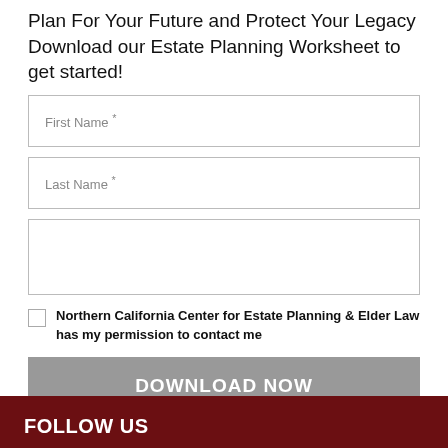Plan For Your Future and Protect Your Legacy Download our Estate Planning Worksheet to get started!
First Name *
Last Name *
Northern California Center for Estate Planning & Elder Law has my permission to contact me
DOWNLOAD NOW
FOLLOW US